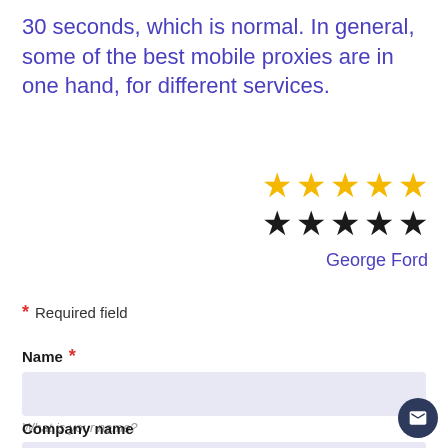30 seconds, which is normal. In general, some of the best mobile proxies are in one hand, for different services.
[Figure (other): Two rows of 5 stars each: top row all gold stars, bottom row all black stars, indicating a rating display]
George Ford
* Required field
Name *
What is your name?
Company name